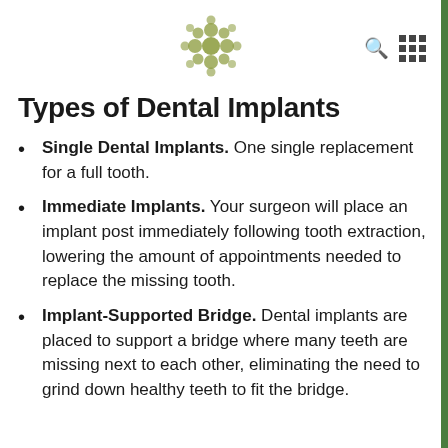[Figure (logo): Circular floral/molecular logo in olive green]
Types of Dental Implants
Single Dental Implants. One single replacement for a full tooth.
Immediate Implants. Your surgeon will place an implant post immediately following tooth extraction, lowering the amount of appointments needed to replace the missing tooth.
Implant-Supported Bridge. Dental implants are placed to support a bridge where many teeth are missing next to each other, eliminating the need to grind down healthy teeth to fit the bridge.